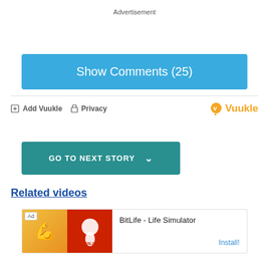Advertisement
Show Comments (25)
Add Vuukle   Privacy   Vuukle
GO TO NEXT STORY
Related videos
[Figure (screenshot): Ad banner for BitLife - Life Simulator app with install button]